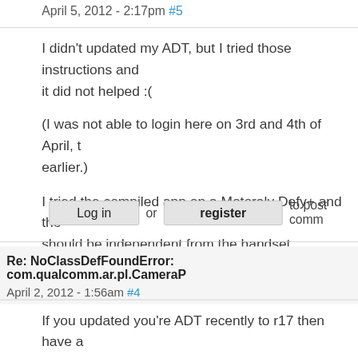April 5, 2012 - 2:17pm #5
I didn't updated my ADT, but I tried those instructions and it did not helped :(
(I was not able to login here on 3rd and 4th of April, that is why I posted earlier.)
I tried the compiled app on a Motoraly Defy+ and the result is the same so it should be independent from the handset.
Log in or register to post comm
Re: NoClassDefFoundError: com.qualcomm.ar.pl.CameraP
April 2, 2012 - 1:56am #4
If you updated you're ADT recently to r17 then have a
http://ar.qualcomm.at/node/2001872